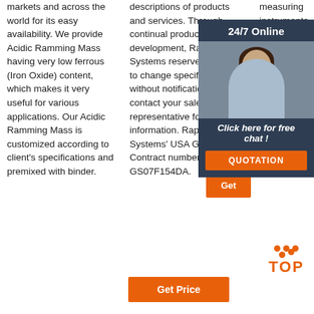markets and across the world for its easy availability. We provide Acidic Ramming Mass having very low ferrous (Iron Oxide) content, which makes it very useful for various applications. Our Acidic Ramming Mass is customized according to client's specifications and premixed with binder.
descriptions of products and services. Through continual product development, Rapiscan Systems reserves the right to change specifications without notification, please contact your sales representative for more information. Rapiscan Systems' USA GSA Contract number is GS07F154DA.
measuring instruments including chromatographs and mass spectrometers, medical, aeronautical, industrial equipment.
[Figure (infographic): 24/7 Online chat widget with agent photo, 'Click here for free chat!' text, and orange QUOTATION button]
[Figure (logo): TOP logo with orange dots arranged in triangle pattern above the word TOP in orange bold letters]